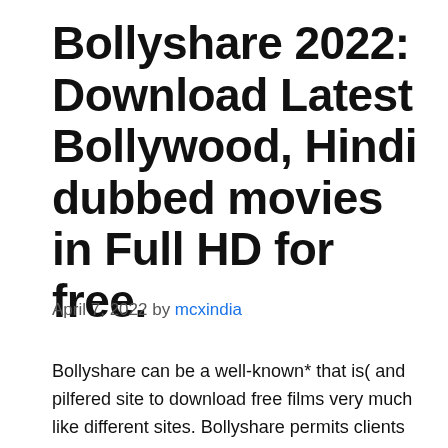Bollyshare 2022: Download Latest Bollywood, Hindi dubbed movies in Full HD for free.
April 7, 2022 by mcxindia
Bollyshare can be a well-known* that is( and pilfered site to download free films very much like different sites. Bollyshare permits clients to watch Hollywood, Bollywood, and